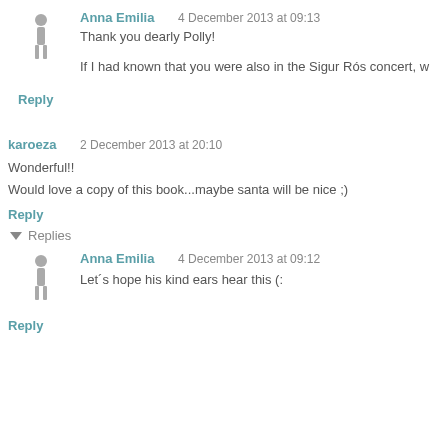Anna Emilia   4 December 2013 at 09:13
Thank you dearly Polly!
If I had known that you were also in the Sigur Rós concert, w
Reply
karoeza  2 December 2013 at 20:10
Wonderful!!
Would love a copy of this book...maybe santa will be nice ;)
Reply
Replies
Anna Emilia   4 December 2013 at 09:12
Let´s hope his kind ears hear this (:
Reply